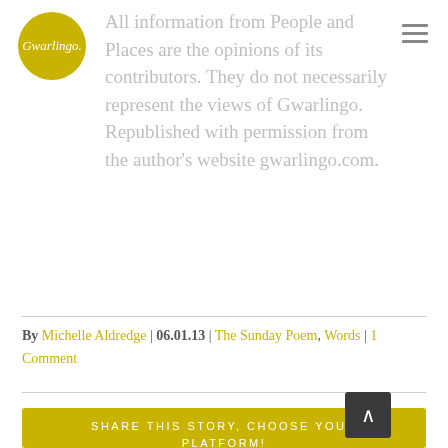[Figure (logo): Gwarlingo yellow circular logo with cursive white text]
[Figure (other): Hamburger menu icon with three horizontal lines]
All information from People and Places are the opinions of its contributors. They do not necessarily represent the views of Gwarlingo. Republished with permission from the author's website gwarlingo.com.
By Michelle Aldredge | 06.01.13 | The Sunday Poem, Words | 1 Comment
SHARE THIS STORY, CHOOSE YOUR PLATFORM!